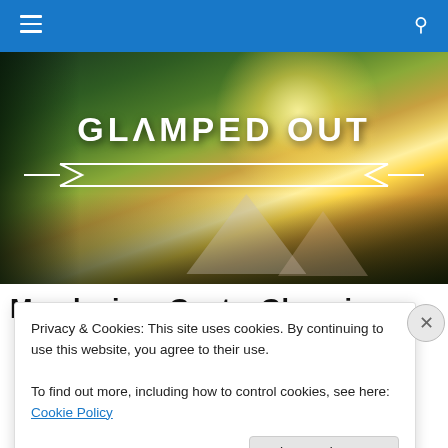Navigation bar with hamburger menu and search icon
[Figure (illustration): Hero banner image showing a glamping/camping scene with tents and hammock in a green valley with bright sunlight breaking through hills. Text overlay reads 'GLAMPED OUT' with decorative arrow banner beneath.]
Mendocino: Goats, Glamping
Privacy & Cookies: This site uses cookies. By continuing to use this website, you agree to their use.
To find out more, including how to control cookies, see here: Cookie Policy
Close and accept